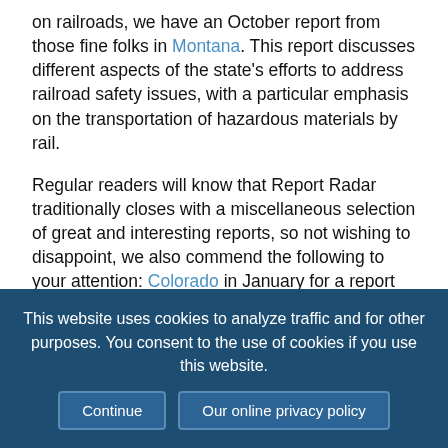on railroads, we have an October report from those fine folks in Montana. This report discusses different aspects of the state's efforts to address railroad safety issues, with a particular emphasis on the transportation of hazardous materials by rail.
Regular readers will know that Report Radar traditionally closes with a miscellaneous selection of great and interesting reports, so not wishing to disappoint, we also commend the following to your attention: Colorado in January for a report on the state's use of funding for immunization programs; a December report from Connecticut on health information privacy; an October report from New Hampshire on state-owned dams; and two reports on the use of procurement/payment cards in state
This website uses cookies to analyze traffic and for other purposes. You consent to the use of cookies if you use this website. Continue | Our online privacy policy